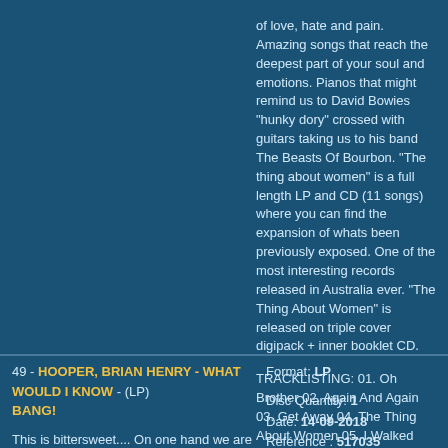of love, hate and pain. Amazing songs that reach the deepest part of your soul and emotions. Pianos that might remind us to David Bowies "hunky dory" crossed with guitars taking us to his band The Beasts Of Bourbon. "The thing about women" is a full length LP and CD (11 songs) where you can find the expansion of whats been previously exposed. One of the most interesting records released in Australia ever. "The Thing About Women" is released on triple cover digipack + inner booklet CD.
TRACKLISTING: 01. Oh Brother 02. Again And Again 03. Get Away 04. The Thing About Women 05. I Walked You Home 06. Just Cause You Wish It 07. Rough Diamond 08. Better Out Than In 09. Drug Day 10. I Really Love You Hate You 11. I Wanted To
49 - HOOPER, BRIAN HENRY - WHAT WOULD I KNOW - (LP) BANG!
Format: LP
Disc Quantity: 1
Date: 14-09-2018
Référence : 517035
Disponibilité : EN STOCK
Prix : 21,00 EUR
This is bittersweet.... On one hand we are so happy and proud of releasing this album. On the other, it feels so deeply sad that this is the posthumous album of our beloved friend and admired artist Brian Hooper...Now, entering into the album, can you imagine a new